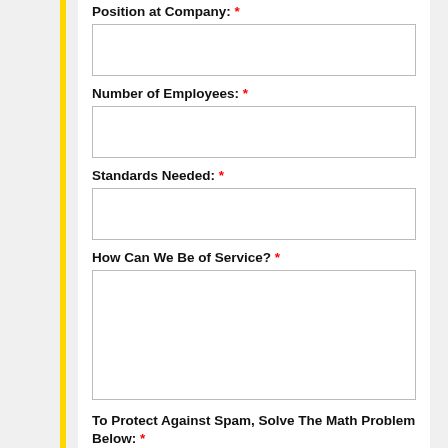Position at Company: *
Number of Employees: *
Standards Needed: *
How Can We Be of Service? *
To Protect Against Spam, Solve The Math Problem Below: *